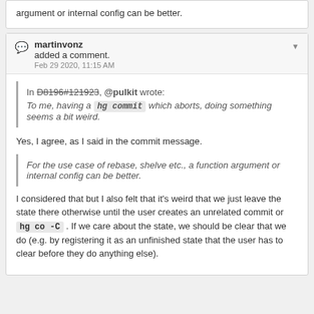argument or internal config can be better.
martinvonz added a comment. Feb 29 2020, 11:15 AM
In D8196#121923, @pulkit wrote:
To me, having a hg commit which aborts, doing something seems a bit weird.
Yes, I agree, as I said in the commit message.
For the use case of rebase, shelve etc., a function argument or internal config can be better.
I considered that but I also felt that it's weird that we just leave the state there otherwise until the user creates an unrelated commit or hg co -C . If we care about the state, we should be clear that we do (e.g. by registering it as an unfinished state that the user has to clear before they do anything else).